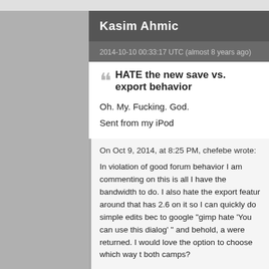Kasim Ahmic
2014-10-10 00:33:17 UTC (almost 8 years ago)
HATE the new save vs. export behavior
Oh. My. Fucking. God.
Sent from my iPod
On Oct 9, 2014, at 8:25 PM, chefebe wrote:

In violation of good forum behavior I am commenting on this is all I have the bandwidth to do. I also hate the export feature around that has 2.6 on it so I can quickly do simple edits because to google "gimp hate 'You can use this dialog' " and behold, a were returned. I would love the option to choose which way to both camps?

Now that my complaint is voiced, I must add: I love gimp. I am maintainers. It is free and I have done nothing to contribute to editor, just a casual user. My uses usually involve modifying s technology company or swapping the heads around on family (even without a majority of us upgrading past 2.6)